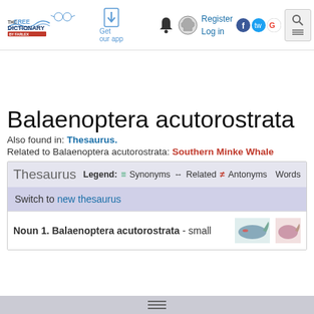The Free Dictionary by Farlex — Get our app — Register — Log in
Balaenoptera acutorostrata
Also found in: Thesaurus.
Related to Balaenoptera acutorostrata: Southern Minke Whale
Thesaurus — Legend: Synonyms Related Antonyms Words
Switch to new thesaurus
Noun 1. Balaenoptera acutorostrata - small